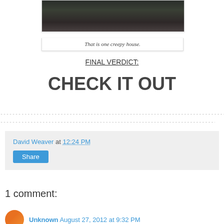[Figure (photo): A person standing on a bridge or path in a dark, wooded area viewed from behind]
That is one creepy house.
FINAL VERDICT:
CHECK IT OUT
David Weaver at 12:24 PM
Share
1 comment:
Unknown August 27, 2012 at 9:32 PM